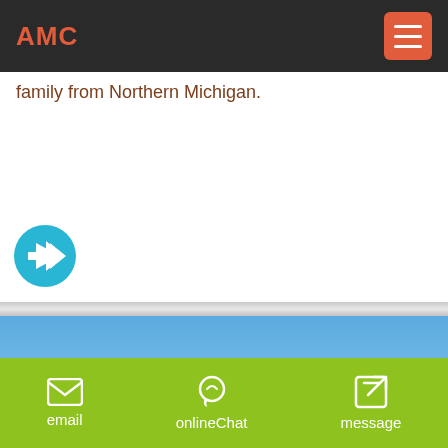AMC
family from Northern Michigan.
[Figure (other): Cyan circle with right-pointing arrow icon (navigation button)]
[Figure (photo): Outdoor industrial/mining scene with conveyor belt structure, a light pole, clear blue sky, and a rocky hillside with vegetation]
email   onlineChat   message